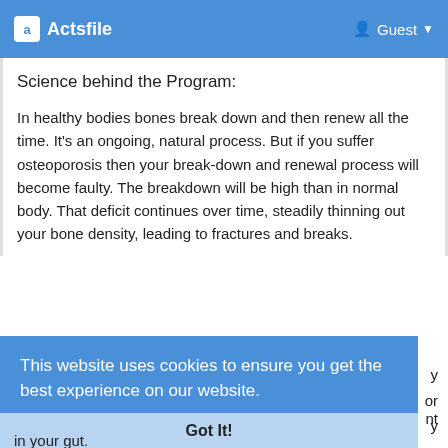Actsfile  Guest
Science behind the Program:
In healthy bodies bones break down and then renew all the time. It's an ongoing, natural process. But if you suffer osteoporosis then your breakdown and renewal process will become faulty. The breakdown will be high than in normal body. That deficit continues over time, steadily thinning out your bone density, leading to fractures and breaks.
This website uses cookies to ensure you get the best experience on our website. Learn More
Got It!
in your gut.